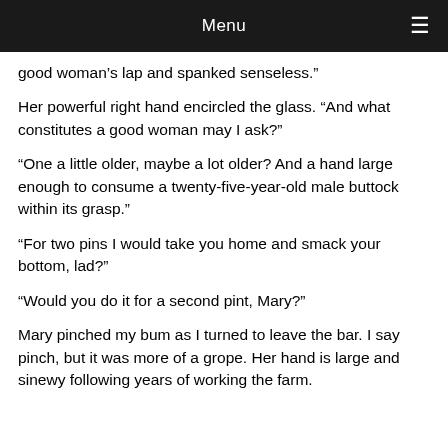Menu
good woman’s lap and spanked senseless.”
Her powerful right hand encircled the glass. “And what constitutes a good woman may I ask?”
“One a little older, maybe a lot older? And a hand large enough to consume a twenty-five-year-old male buttock within its grasp.”
“For two pins I would take you home and smack your bottom, lad?”
“Would you do it for a second pint, Mary?”
Mary pinched my bum as I turned to leave the bar. I say pinch, but it was more of a grope. Her hand is large and sinewy following years of working the farm.